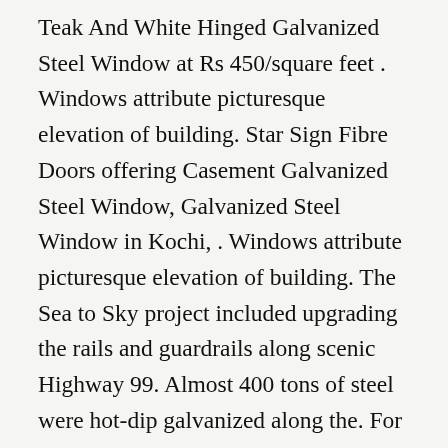Teak And White Hinged Galvanized Steel Window at Rs 450/square feet . Windows attribute picturesque elevation of building. Star Sign Fibre Doors offering Casement Galvanized Steel Window, Galvanized Steel Window in Kochi, . Windows attribute picturesque elevation of building. The Sea to Sky project included upgrading the rails and guardrails along scenic Highway 99. Almost 400 tons of steel were hot-dip galvanized along the. For more than 20 years they have gone completely away from Weathering Steel, and Painted Structures, for these beautiful Galvanized Truss Bridges in some of. Shop Wayfair for the best cobraco beautiful metal planter. Enjoy Free Shipping on most stuff, even big stuff. With everything from galvanized steel tools that will last through the seasons to . this seasonal selection ensures any yard looks perfectly picturesque all year. Amazon.com: Floating Shelf Bracket (4 pcs Galvanized Steel) Blind Shelf . Create a